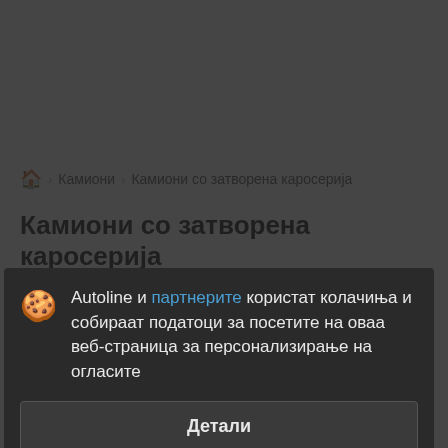🏠 › Камиони › Камиони со затворена каросерија
Камиони со затворена каросерија SCHWARZMÜLLER
Autoline и партнерите користат колачиња и собираат податоци за посетите на оваа веб-страница за персонализирање на огласите
Детали
Прифаќам и затвори
Камиони со затворена каросерија